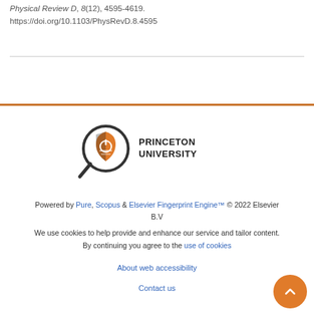Physical Review D, 8(12), 4595-4619. https://doi.org/10.1103/PhysRevD.8.4595
[Figure (logo): Princeton University logo with magnifying glass icon and shield, next to text 'PRINCETON UNIVERSITY']
Powered by Pure, Scopus & Elsevier Fingerprint Engine™ © 2022 Elsevier B.V
We use cookies to help provide and enhance our service and tailor content. By continuing you agree to the use of cookies
About web accessibility
Contact us